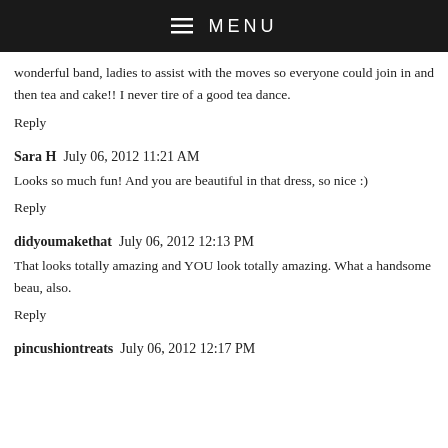≡ MENU
wonderful band, ladies to assist with the moves so everyone could join in and then tea and cake!! I never tire of a good tea dance.
Reply
Sara H  July 06, 2012 11:21 AM
Looks so much fun! And you are beautiful in that dress, so nice :)
Reply
didyoumakethat  July 06, 2012 12:13 PM
That looks totally amazing and YOU look totally amazing. What a handsome beau, also.
Reply
pincushiontreats  July 06, 2012 12:17 PM